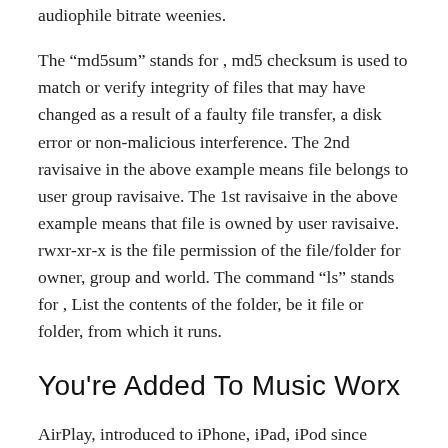audiophile bitrate weenies.
The “md5sum” stands for , md5 checksum is used to match or verify integrity of files that may have changed as a result of a faulty file transfer, a disk error or non-malicious interference. The 2nd ravisaive in the above example means file belongs to user group ravisaive. The 1st ravisaive in the above example means that file is owned by user ravisaive. rwxr-xr-x is the file permission of the file/folder for owner, group and world. The command “ls” stands for , List the contents of the folder, be it file or folder, from which it runs.
You're Added To Music Worx
AirPlay, introduced to iPhone, iPad, iPod since